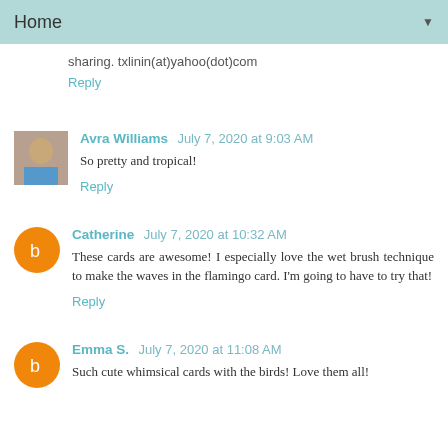Home
sharing. txlinin(at)yahoo(dot)com
Reply
Avra Williams  July 7, 2020 at 9:03 AM
So pretty and tropical!
Reply
Catherine  July 7, 2020 at 10:32 AM
These cards are awesome! I especially love the wet brush technique to make the waves in the flamingo card. I'm going to have to try that!
Reply
Emma S.  July 7, 2020 at 11:08 AM
Such cute whimsical cards with the birds! Love them all!